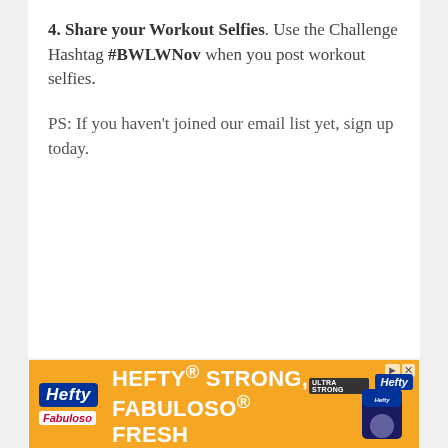4. Share your Workout Selfies. Use the Challenge Hashtag #BWLWNov when you post workout selfies.
PS: If you haven't joined our email list yet, sign up today.
[Figure (other): Hefty advertisement banner: orange background with Hefty logo, Fabuloso logo, text 'HEFTY STRONG, FABULOSO FRESH', and product image on the right.]